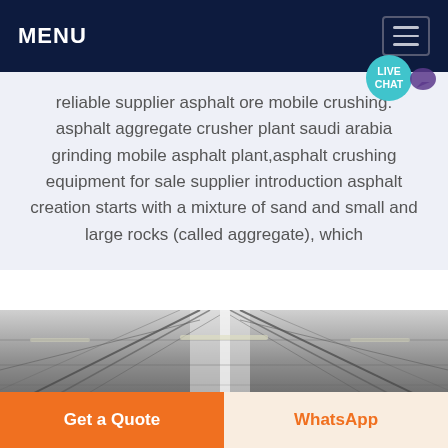MENU
reliable supplier asphalt ore mobile crushing. asphalt aggregate crusher plant saudi arabia grinding mobile asphalt plant,asphalt crushing equipment for sale supplier introduction asphalt creation starts with a mixture of sand and small and large rocks (called aggregate), which
[Figure (photo): Industrial interior showing metal roof trusses and ceiling structure of a large factory or warehouse building, black and white / desaturated photograph.]
Get a Quote
WhatsApp